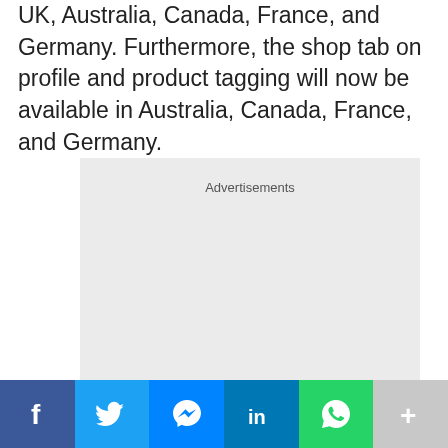UK, Australia, Canada, France, and Germany. Furthermore, the shop tab on profile and product tagging will now be available in Australia, Canada, France, and Germany.
[Figure (other): Advertisements placeholder box with light grey background and 'Advertisements' label at top center]
[Figure (infographic): Social share bar with buttons: Facebook (dark blue, f icon), Twitter (light blue, bird icon), Messenger (blue, message icon), LinkedIn (blue, in icon), WhatsApp (green, phone icon), More (grey, plus icon)]